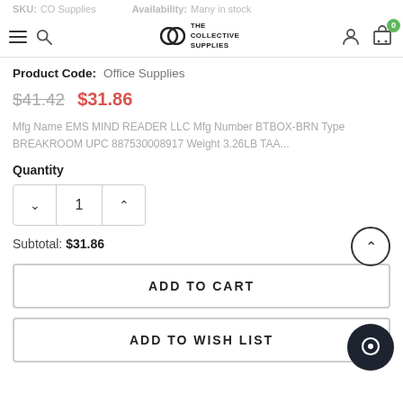SKU: CO Supplies | Availability: Many in stock
[Figure (logo): The Collective Supplies logo with linked ring symbol and text]
Product Code: Office Supplies
$41.42  $31.86
Mfg Name EMS MIND READER LLC Mfg Number BTBOX-BRN Type BREAKROOM UPC 887530008917 Weight 3.26LB TAA...
Quantity
1
Subtotal: $31.86
ADD TO CART
ADD TO WISH LIST